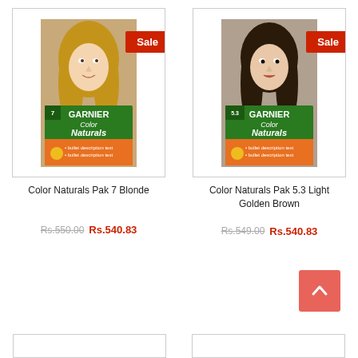[Figure (photo): Garnier Color Naturals Pak 7 Blonde hair dye product box showing a blonde woman, with a red Sale badge in top right corner]
Color Naturals Pak 7 Blonde
Rs.550.00  Rs.540.83
[Figure (photo): Garnier Color Naturals Pak 5.3 Light Golden Brown hair dye product box showing a brunette woman, with a red Sale badge in top right corner]
Color Naturals Pak 5.3 Light Golden Brown
Rs.549.00  Rs.540.83